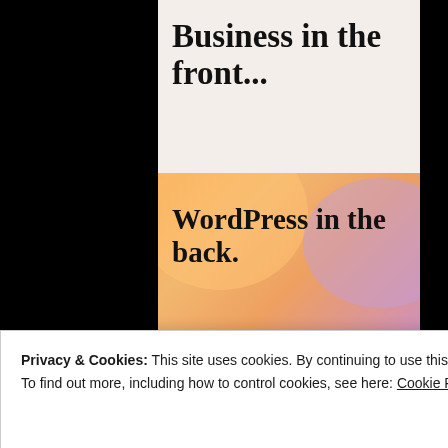Business in the front...
[Figure (illustration): WordPress VIP advertisement banner with gradient orange-pink background, decorative blobs, text 'WordPress in the back.', WordPress W logo with 'vip' text, and 'Learn more →' button]
REPORT THIS AD
Search
Privacy & Cookies: This site uses cookies. By continuing to use this website, you agree to their use.
To find out more, including how to control cookies, see here: Cookie Policy
Close and accept